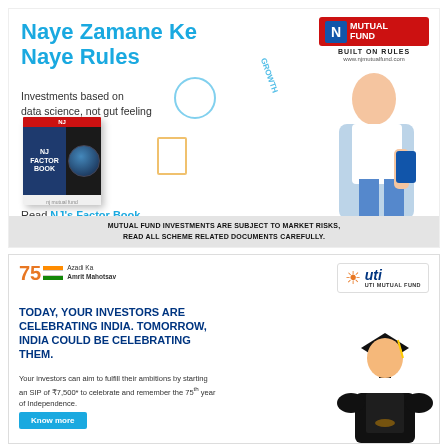[Figure (illustration): NJ Mutual Fund advertisement. Title 'Naye Zamane Ke Naye Rules' in blue. Tagline 'Investments based on data science, not gut feeling'. NJ Mutual Fund logo top right. Book image labeled NJ Factor Book. Woman holding phone smiling. Download Now button. Hashtag #ReadKaroPhirInvestKaro. Disclaimer text at bottom.]
[Figure (illustration): UTI Mutual Fund advertisement. Azadi Ka Amrit Mahotsav logo with Indian flag. UTI Mutual Fund logo top right. Text: TODAY, YOUR INVESTORS ARE CELEBRATING INDIA. TOMORROW, INDIA COULD BE CELEBRATING THEM. Description about SIP of ₹7,500 to celebrate 75th year of Independence. Know more button. Graduate student image on right.]